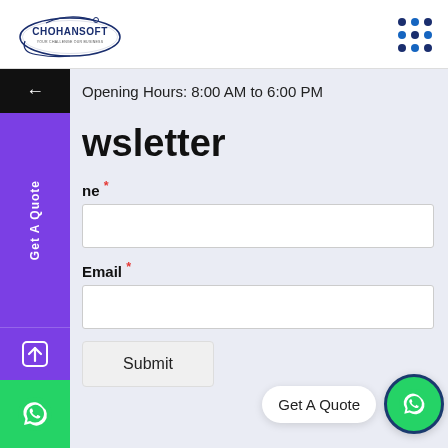[Figure (logo): Chohansoft logo - oval shape with text CHOHANSOFT and tagline YOUR CHALLENGE OUR BUSINESS]
Opening Hours: 8:00 AM to 6:00 PM
wsletter
ne *
Email *
Submit